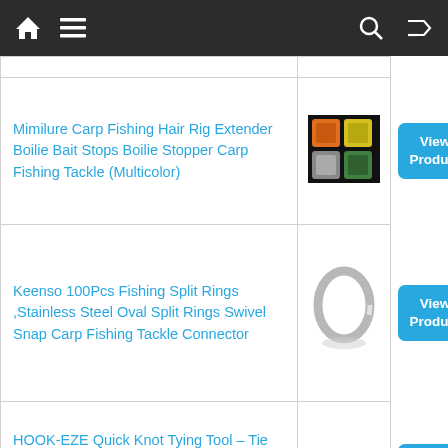Navigation bar with home, menu, search, and shuffle icons
Mimilure Carp Fishing Hair Rig Extender Boilie Bait Stops Boilie Stopper Carp Fishing Tackle (Multicolor)
Keenso 100Pcs Fishing Split Rings ,Stainless Steel Oval Split Rings Swivel Snap Carp Fishing Tackle Connector
HOOK-EZE Quick Knot Tying Tool – Tie Fast Fishing Knots All in 1 | Safe Hook Cover for Fishing Rods | Line Cutter | for Saltwater Freshwater Bass